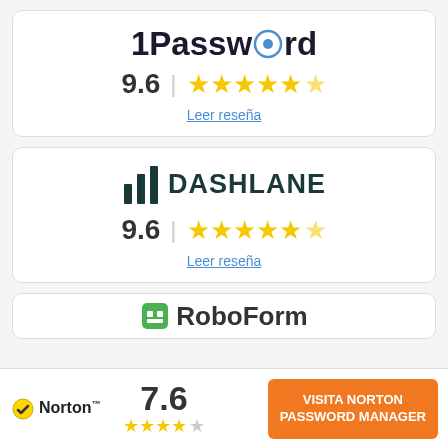[Figure (logo): 1Password logo with circular O icon, score 9.6 with 4.5 stars, Leer reseña link]
[Figure (logo): Dashlane logo with bar chart icon, score 9.6 with 4.5 stars, Leer reseña link]
[Figure (logo): RoboForm logo partially visible]
[Figure (logo): Norton bottom bar with score 7.6, 3.5 stars, VISITA NORTON PASSWORD MANAGER button]